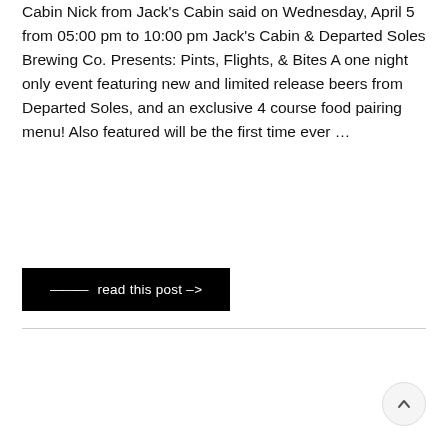Cabin Nick from Jack's Cabin said on Wednesday, April 5 from 05:00 pm to 10:00 pm Jack's Cabin & Departed Soles Brewing Co. Presents: Pints, Flights, & Bites A one night only event featuring new and limited release beers from Departed Soles, and an exclusive 4 course food pairing menu! Also featured will be the first time ever …
——— read this post –>